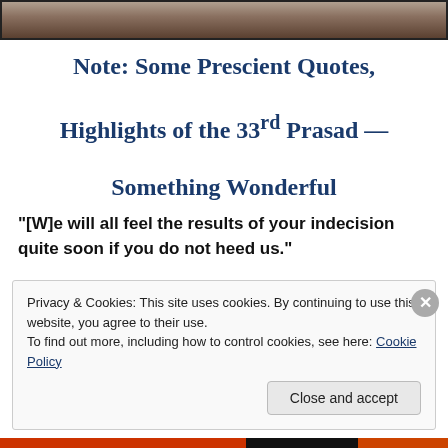[Figure (photo): Partial photo strip at top of page, showing a muted brown/orange tonal image, cropped to a narrow strip]
Note: Some Prescient Quotes, Highlights of the 33rd Prasad — Something Wonderful
"[W]e will all feel the results of your indecision quite soon if you do not heed us."
Privacy & Cookies: This site uses cookies. By continuing to use this website, you agree to their use.
To find out more, including how to control cookies, see here: Cookie Policy
Close and accept